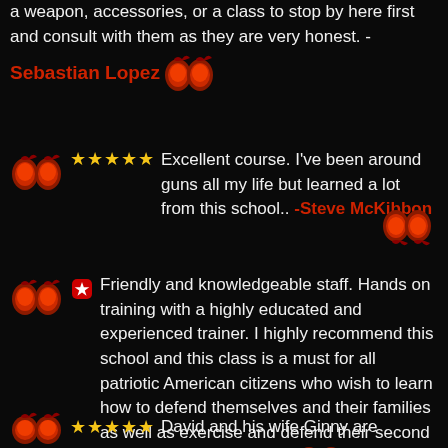a weapon, accessories, or a class to stop by here first and consult with them as they are very honest. - Sebastian Lopez
★★★★★ Excellent course. I've been around guns all my life but learned a lot from this school.. -Steve McKibbon
Friendly and knowledgeable staff. Hands on training with a highly educated and experienced trainer. I highly recommend this school and this class is a must for all patriotic American citizens who wish to learn how to defend themselves and their families as well as exercise and defend their second amendment rights. -Tracy Giordano
★★★★★ David and his wife Ginny are